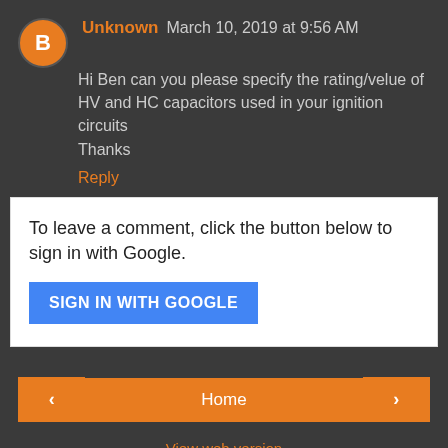Unknown March 10, 2019 at 9:56 AM
Hi Ben can you please specify the rating/velue of HV and HC capacitors used in your ignition circuits
Thanks
Reply
To leave a comment, click the button below to sign in with Google.
SIGN IN WITH GOOGLE
Home
View web version
About Me
Ben Krasnow